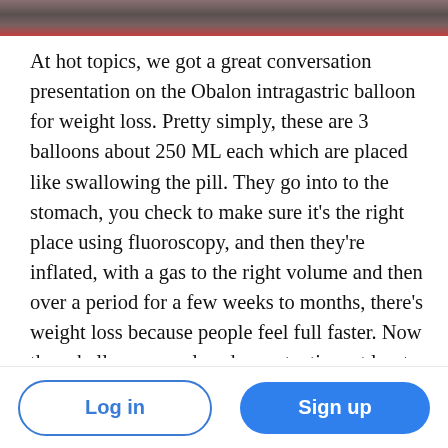[Figure (photo): Cropped photo of people at the top of the page, showing partial view of individuals]
At hot topics, we got a great conversation presentation on the Obalon intragastric balloon for weight loss. Pretty simply, these are 3 balloons about 250 ML each which are placed like swallowing the pill. They go into to the stomach, you check to make sure it's the right place using fluoroscopy, and then they're inflated, with a gas to the right volume and then over a period for a few weeks to months, there's weight loss because people feel full faster. Now these balloons are placed one at a time at least two weeks apart and studies have shown compared to a placebo
Log in   Sign up